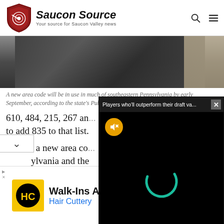Saucon Source — Your source for Saucon Valley news
[Figure (photo): Close-up photo of a person in a dark jacket/blazer, partially cropped]
A new area code will be in use in much of southeastern Pennsylvania by early September, according to the state's Public Utility Commission. (FILE...
610, 484, 215, 267 an... to add 835 to that list.
There's a new area co... ylvania and the
[Figure (screenshot): Video popup overlay showing 'Players who'll outperform their draft va...' with a black background and teal loading spinner, yellow mute button, and close X button]
[Figure (advertisement): Hair Cuttery ad banner: Walk-Ins Available, Hair Cuttery, with yellow HC logo and blue navigation icon]